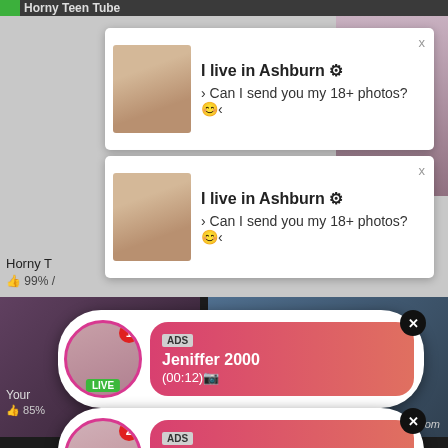Horny Teen Tube
[Figure (screenshot): Ad notification card 1: I live in Ashburn globe icon / Can I send you my 18+ photos? smiley]
[Figure (screenshot): Ad notification card 2: I live in Ashburn globe icon / Can I send you my 18+ photos? smiley]
Horny T
👍 99% /
[Figure (screenshot): Dark video section background with thumbnails]
[Figure (screenshot): Chat bubble ad 1: ADS / Jeniffer 2000 / (00:12) with LIVE avatar]
[Figure (screenshot): Chat bubble ad 2: ADS / Angel is typing ... / (1) unread message with LIVE avatar]
Your
👍 85%
life.com